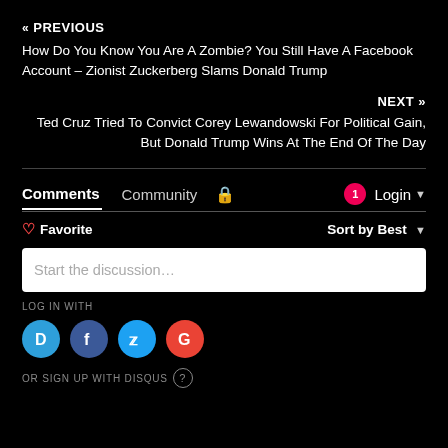« PREVIOUS
How Do You Know You Are A Zombie? You Still Have A Facebook Account – Zionist Zuckerberg Slams Donald Trump
NEXT »
Ted Cruz Tried To Convict Corey Lewandowski For Political Gain, But Donald Trump Wins At The End Of The Day
Comments  Community  🔒  1 Login ▼
♡ Favorite  |  Sort by Best ▼
Start the discussion…
LOG IN WITH
OR SIGN UP WITH DISQUS ?